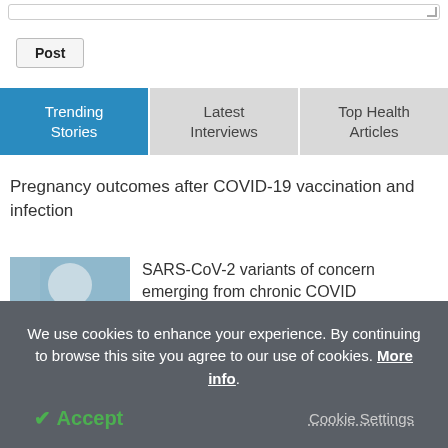[Figure (screenshot): Top portion of a text input area (textarea stub) partially visible at the top of the page]
Post
Trending Stories | Latest Interviews | Top Health Articles
Pregnancy outcomes after COVID-19 vaccination and infection
[Figure (photo): Partial photo of a person in lab/medical setting, partially overlapped by cookie banner]
SARS-CoV-2 variants of concern emerging from chronic COVID
We use cookies to enhance your experience. By continuing to browse this site you agree to our use of cookies. More info.
Accept
Cookie Settings